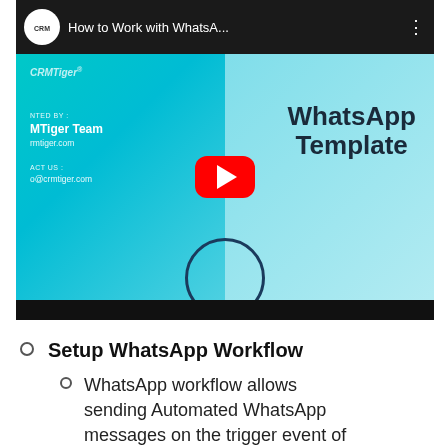[Figure (screenshot): YouTube video thumbnail for 'How to Work with WhatsA...' by CRMTiger, showing a WhatsApp Template presentation slide with teal/cyan gradient background, CRMTiger Team branding, and a red YouTube play button overlay.]
Setup WhatsApp Workflow
WhatsApp workflow allows sending Automated WhatsApp messages on the trigger event of